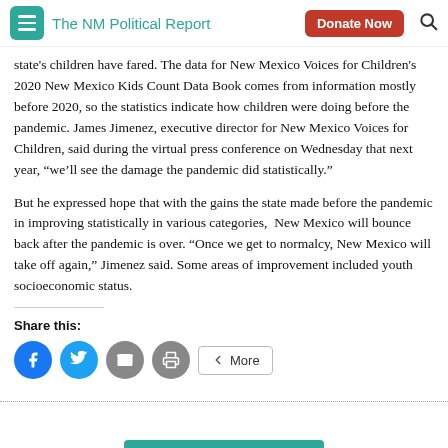The NM Political Report
state's children have fared. The data for New Mexico Voices for Children's 2020 New Mexico Kids Count Data Book comes from information mostly before 2020, so the statistics indicate how children were doing before the pandemic. James Jimenez, executive director for New Mexico Voices for Children, said during the virtual press conference on Wednesday that next year, “we’ll see the damage the pandemic did statistically.”
But he expressed hope that with the gains the state made before the pandemic in improving statistically in various categories,  New Mexico will bounce back after the pandemic is over. “Once we get to normalcy, New Mexico will take off again,” Jimenez said. Some areas of improvement included youth socioeconomic status.
Share this: